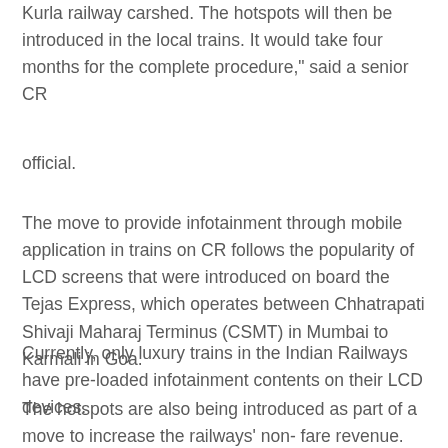Kurla railway carshed. The hotspots will then be introduced in the local trains. It would take four months for the complete procedure," said a senior CR
official.
The move to provide infotainment through mobile application in trains on CR follows the popularity of LCD screens that were introduced on board the Tejas Express, which operates between Chhatrapati Shivaji Maharaj Terminus (CSMT) in Mumbai to Karmali in Goa.
Currently, only luxury trains in the Indian Railways have pre-loaded infotainment contents on their LCD devices.
The hotspots are also being introduced as part of a move to increase the railways' non- fare revenue. The CR is looking at earning revenue through preloaded advertisement in the hotspots. The railway board, apex body of all zonal railways, has issued directives to the 18 zones of Indian railways to